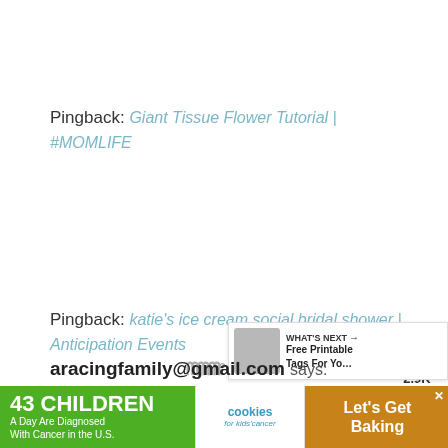Pingback: Giant Tissue Flower Tutorial | #MOMLIFE
Pingback: katie's ice cream social bridal shower | Anticipation Events
aracingfamily@gmail.com says:
[Figure (screenshot): Social sharing sidebar with heart/save button showing 2.9K count, and share button]
[Figure (screenshot): What's Next promo box: Free Printable Tags For Yo...]
[Figure (screenshot): Advertisement banner: 43 Children A Day Are Diagnosed With Cancer in the U.S. / cookies for kids cancer / Let's Get Baking]